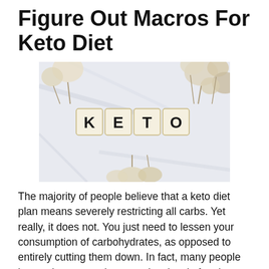Figure Out Macros For Keto Diet
[Figure (photo): Scrabble tiles spelling KETO on a white marble surface, surrounded by dried pampas grass and fluffy dried flowers]
The majority of people believe that a keto diet plan means severely restricting all carbs. Yet really, it does not. You just need to lessen your consumption of carbohydrates, as opposed to entirely cutting them down. In fact, many people locate that preserving a modest level of carbs enables them to lose fat and also keep it off. So, essentially, keto